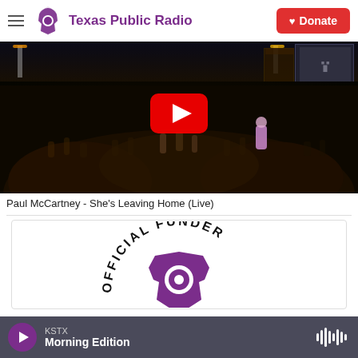Texas Public Radio | Donate
[Figure (screenshot): YouTube video thumbnail showing a large concert crowd at night with stage lights. Video: Paul McCartney - She's Leaving Home (Live)]
Paul McCartney - She's Leaving Home (Live)
[Figure (logo): Official Funder badge with Texas Public Radio logo (purple Texas shape with circle)]
KSTX Morning Edition (player bar with play button and waveform icon)